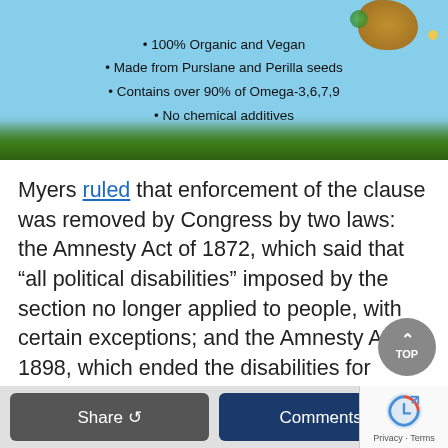[Figure (illustration): Advertisement image with light blue sky background showing text bullet points about an organic supplement product, with green plants at the bottom and seeds/droplets visible.]
Myers ruled that enforcement of the clause was removed by Congress by two laws: the Amnesty Act of 1872, which said that “all political disabilities” imposed by the section no longer applied to people, with certain exceptions; and the Amnesty Act of 1898, which ended the disabilities for everybody else.
“The… [truncated text visible at bottom]